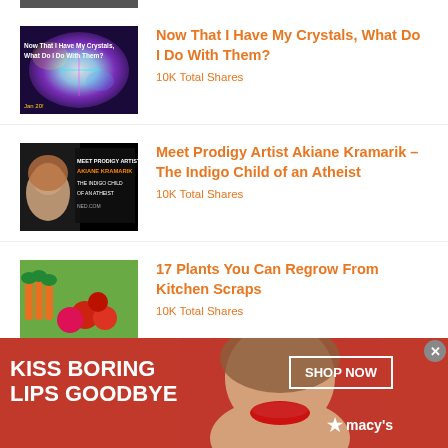[Figure (photo): Partial top image cropped at top of page - dark/space themed image]
[Figure (photo): Thumbnail for 'Now That I Have My Crystals, What Do I Do With Them?' - colorful crystals with rainbow light]
Now That I Have My Crystals, What Do I Do With Them?
10K Total Shares
[Figure (photo): Thumbnail for 'Meet Prodigy Artist Akiane Kramarik - The Indigo Child of an Atheist' - portrait of young girl with text overlay]
Meet Prodigy Artist Akiane Kramarik – The Indigo Child of an Atheist
10K Total Shares
[Figure (photo): Thumbnail for '17 Plants You Can Regrow From Kitchen Scraps' - vegetables including carrots, beets, tomatoes]
17 Plants You Can Regrow From Kitchen Scraps
10K Total Shares
[Figure (photo): Advertisement banner: KISS BORING LIPS GOODBYE - Macy's cosmetics ad with woman's face, SHOP NOW button]